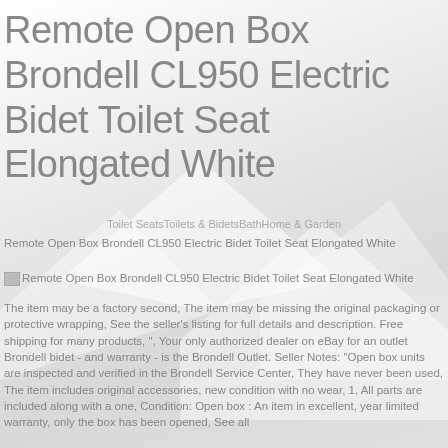Remote Open Box Brondell CL950 Electric Bidet Toilet Seat Elongated White
Toilet SeatsToilets & BidetsBathHome & Garden
Remote Open Box Brondell CL950 Electric Bidet Toilet Seat Elongated White
[Figure (other): Thumbnail image placeholder for Remote Open Box Brondell CL950 Electric Bidet Toilet Seat Elongated White]
Remote Open Box Brondell CL950 Electric Bidet Toilet Seat Elongated White
The item may be a factory second, The item may be missing the original packaging or protective wrapping, See the seller's listing for full details and description. Free shipping for many products, ", Your only authorized dealer on eBay for an outlet Brondell bidet - and warranty - is the Brondell Outlet. Seller Notes: "Open box units are inspected and verified in the Brondell Service Center, They have never been used, The item includes original accessories, new condition with no wear, 1, All parts are included along with a one, Condition: Open box : An item in excellent, year limited warranty, only the box has been opened, See all